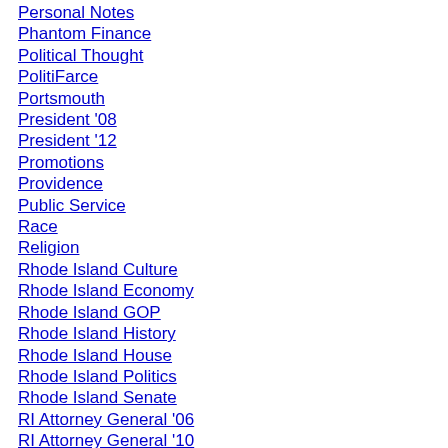Personal Notes
Phantom Finance
Political Thought
PolitiFarce
Portsmouth
President '08
President '12
Promotions
Providence
Public Service
Race
Religion
Rhode Island Culture
Rhode Island Economy
Rhode Island GOP
Rhode Island History
Rhode Island House
Rhode Island Politics
Rhode Island Senate
RI Attorney General '06
RI Attorney General '10
RI Congress '06
RI Congress '08
RI Congress '10
RI Congress '12